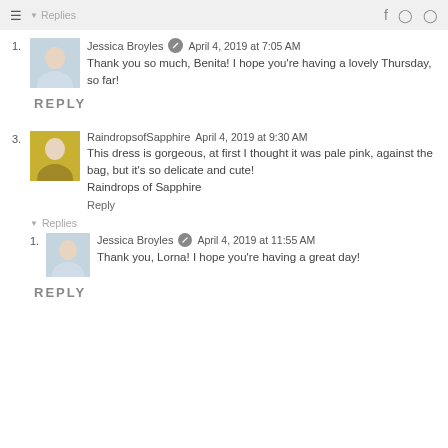Replies
1. Jessica Broyles  April 4, 2019 at 7:05 AM
Thank you so much, Benita! I hope you're having a lovely Thursday, so far!
REPLY
3. RaindropsofSapphire  April 4, 2019 at 9:30 AM
This dress is gorgeous, at first I thought it was pale pink, against the bag, but it's so delicate and cute!
Raindrops of Sapphire
Reply
Replies
1. Jessica Broyles  April 4, 2019 at 11:55 AM
Thank you, Lorna! I hope you're having a great day!
REPLY